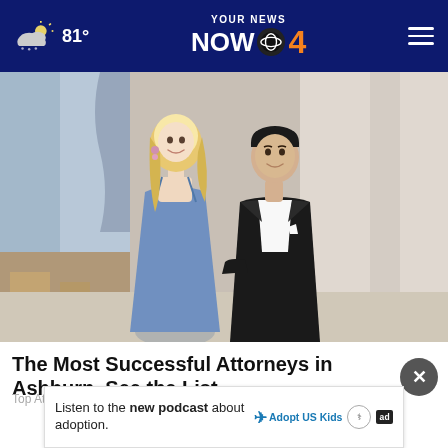81° | YOUR NEWS NOW 4
[Figure (photo): A couple dressed formally — woman in blue spaghetti-strap dress and man in black tuxedo with bow tie, posing together at an event]
The Most Successful Attorneys in Ashburn. See the List
Top Attorney | Sponsored Links
[Figure (photo): Partial image of a person visible at the bottom of the page]
Listen to the new podcast about adoption.